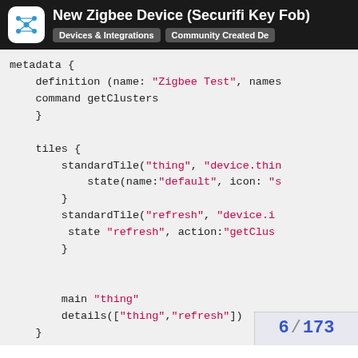New Zigbee Device (Securifi Key Fob) | Devices & Integrations | Community Created De
metadata {
    definition (name: "Zigbee Test", names
    command getClusters
    }

    tiles {
        standardTile("thing", "device.thin
            state(name:"default", icon: "s
        }
        standardTile("refresh", "device.i
         state "refresh", action:"getClus
        }


        main "thing"
        details(["thing","refresh"])
    }
}
6 / 173